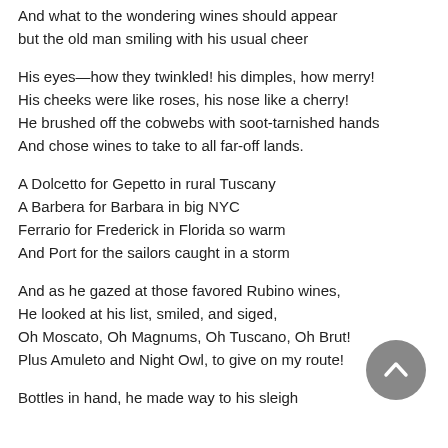And what to the wondering wines should appear
but the old man smiling with his usual cheer

His eyes—how they twinkled! his dimples, how merry!
His cheeks were like roses, his nose like a cherry!
He brushed off the cobwebs with soot-tarnished hands
And chose wines to take to all far-off lands.

A Dolcetto for Gepetto in rural Tuscany
A Barbera for Barbara in big NYC
Ferrario for Frederick in Florida so warm
And Port for the sailors caught in a storm

And as he gazed at those favored Rubino wines,
He looked at his list, smiled, and siged,
Oh Moscato, Oh Magnums, Oh Tuscano, Oh Brut!
Plus Amuleto and Night Owl, to give on my route!

Bottles in hand, he made way to his sleigh
[Figure (other): A circular dark grey scroll-up / back-to-top button with a white chevron arrow pointing upward, positioned at the bottom-right of the page.]